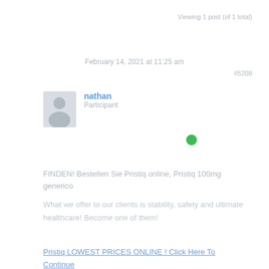Viewing 1 post (of 1 total)
February 14, 2021 at 11:25 am
#5208
nathan
Participant
FINDEN! Bestellen Sie Pristiq online, Pristiq 100mg generico
What we offer to our clients is stability, safety and ultimate healthcare! Become one of them!
Pristiq LOWEST PRICES ONLINE ! Click Here To Continue